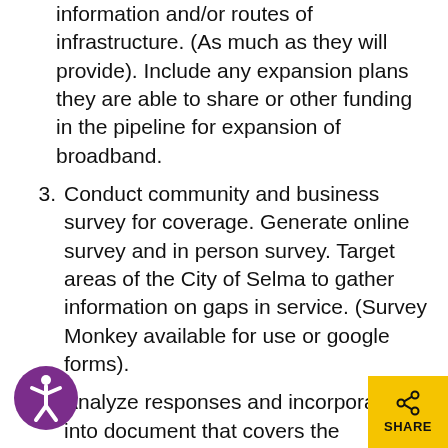(continuation) information and/or routes of infrastructure. (As much as they will provide). Include any expansion plans they are able to share or other funding in the pipeline for expansion of broadband.
3. Conduct community and business survey for coverage. Generate online survey and in person survey. Target areas of the City of Selma to gather information on gaps in service. (Survey Monkey available for use or google forms).
4. Analyze responses and incorporate into document that covers the following:
1. Service Providers and Availability (Speed and Location)
2. Neighborhood responses (p... availability, speed/usability)